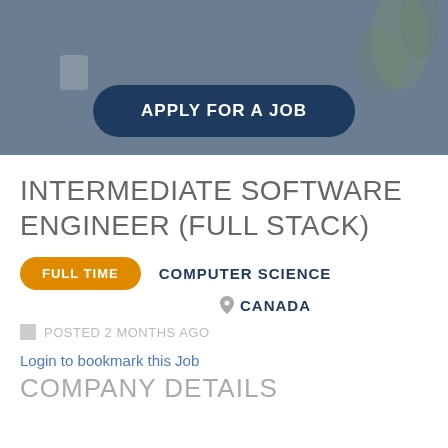[Figure (photo): Hero banner background image showing a blurred office/home setting with plants, overlaid with a dark tint and a blue rounded button labeled APPLY FOR A JOB]
INTERMEDIATE SOFTWARE ENGINEER (FULL STACK)
FULL TIME   COMPUTER SCIENCE
CANADA
POSTED 2 MONTHS AGO
Login to bookmark this Job
COMPANY DETAILS